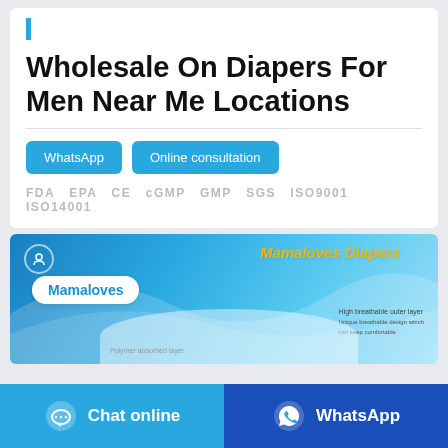Wholesale On Diapers For Men Near Me Locations
WhatsApp   Online consultation
FDA  EPA  CE  cGMP  GMP  SGS  ISO9001  ISO14001
[Figure (photo): Mamaloves Diapers product banner with blue gradient background, white cloud logo, orange italic 'Mamaloves Diapers' badge, and diaper product image with annotations 'High breathable outer layer', 'Unique breathable design which can keep comfortable', 'Polymer absorbed layer']
Chat online
WhatsApp